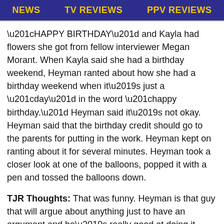NEWS | TV REVIEWS | PPV REVIEWS
“HAPPY BIRTHDAY” and Kayla had flowers she got from fellow interviewer Megan Morant. When Kayla said she had a birthday weekend, Heyman ranted about how she had a birthday weekend when it’s just a “day” in the word “happy birthday.” Heyman said it’s not okay. Heyman said that the birthday credit should go to the parents for putting in the work. Heyman kept on ranting about it for several minutes. Heyman took a closer look at one of the balloons, popped it with a pen and tossed the balloons down.
TJR Thoughts: That was funny. Heyman is that guy that will argue about anything just to have an argument and he’s really good at doing it. Kayla turns 28 on June 7, so happy birthday to her on